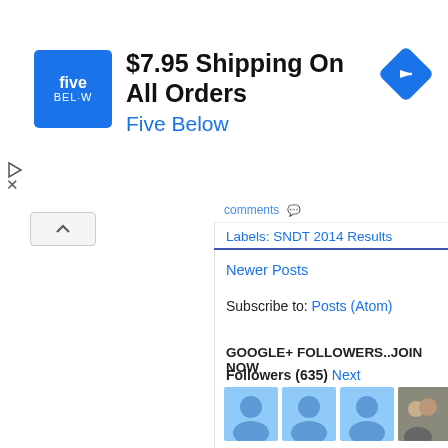[Figure (screenshot): Five Below advertisement banner with blue logo showing 'five BEL·W', headline '$7.95 Shipping On All Orders', subline 'Five Below', and a blue navigation arrow icon on the right. Play and X controls at bottom left.]
Labels: SNDT 2014 Results
Newer Posts
Subscribe to: Posts (Atom)
GOOGLE+ FOLLOWERS..JOIN NOW
Followers (635) Next
[Figure (photo): Grid of Google+ follower profile photos: 3 blue silhouette placeholders, then real user photos — a group photo, a woman's portrait, a partial photo. Second row: a man in white shirt, a street scene, people outdoors, a woman with child.]